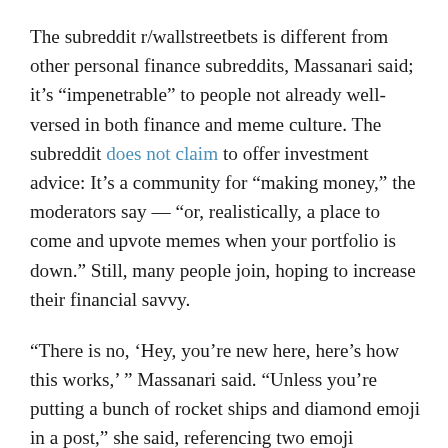The subreddit r/wallstreetbets is different from other personal finance subreddits, Massanari said; it's “impenetrable” to people not already well-versed in both finance and meme culture. The subreddit does not claim to offer investment advice: It’s a community for “making money,” the moderators say — “or, realistically, a place to come and upvote memes when your portfolio is down.” Still, many people join, hoping to increase their financial savvy.
“There is no, ‘Hey, you’re new here, here’s how this works,’ ” Massanari said. “Unless you’re putting a bunch of rocket ships and diamond emoji in a post,” she said, referencing two emoji common on the subreddit, you’re going to feel like you don’t belong.